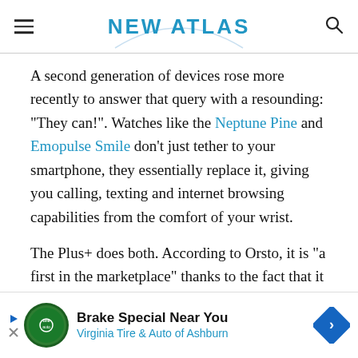NEW ATLAS
A second generation of devices rose more recently to answer that query with a resounding: "They can!". Watches like the Neptune Pine and Emopulse Smile don't just tether to your smartphone, they essentially replace it, giving you calling, texting and internet browsing capabilities from the comfort of your wrist.
The Plus+ does both. According to Orsto, it is "a first in the marketplace" thanks to the fact that it can act as a smartphone on its own or tether to a standard smart... w they u...
[Figure (advertisement): Ad banner: Brake Special Near You - Virginia Tire & Auto of Ashburn]